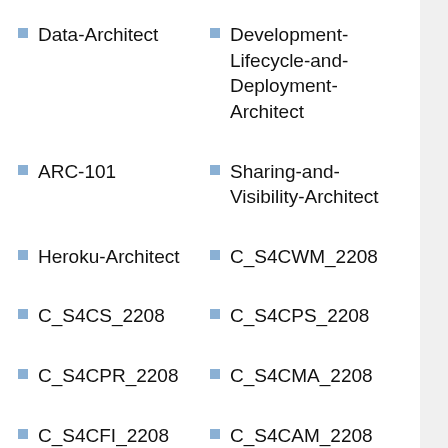Data-Architect
Development-Lifecycle-and-Deployment-Architect
ARC-101
Sharing-and-Visibility-Architect
Heroku-Architect
C_S4CWM_2208
C_S4CS_2208
C_S4CPS_2208
C_S4CPR_2208
C_S4CMA_2208
C_S4CFI_2208
C_S4CAM_2208